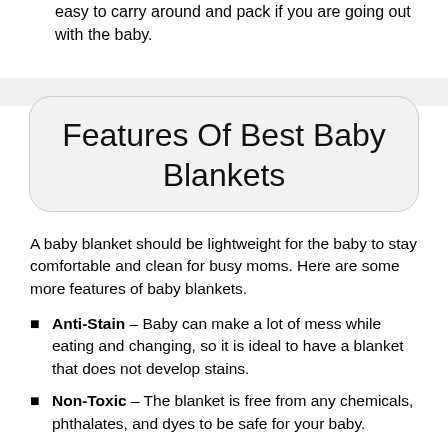easy to carry around and pack if you are going out with the baby.
Features Of Best Baby Blankets
A baby blanket should be lightweight for the baby to stay comfortable and clean for busy moms. Here are some more features of baby blankets.
Anti-Stain – Baby can make a lot of mess while eating and changing, so it is ideal to have a blanket that does not develop stains.
Non-Toxic – The blanket is free from any chemicals, phthalates, and dyes to be safe for your baby.
Quick-Dry – The blanket should dry quickly after washing